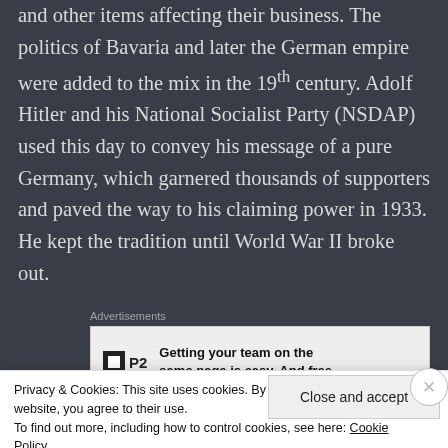and other items affecting their business. The politics of Bavaria and later the German empire were added to the mix in the 19th century. Adolf Hitler and his National Socialist Party (NSDAP) used this day to convey his message of a pure Germany, which garnered thousands of supporters and paved the way to his claiming power in 1933. He kept the tradition until World War II broke out.
[Figure (screenshot): Advertisement banner: P2 logo with text 'Getting your team on the same page is easy. And free.']
Privacy & Cookies: This site uses cookies. By continuing to use this website, you agree to their use. To find out more, including how to control cookies, see here: Cookie Policy
Close and accept